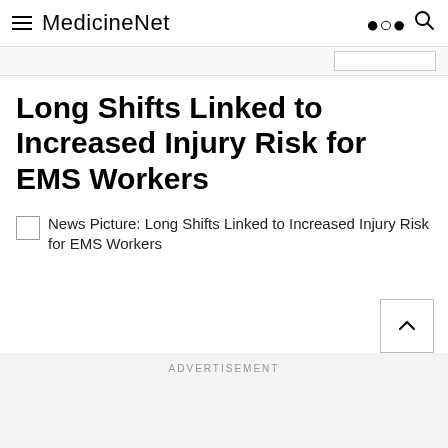MedicineNet
Long Shifts Linked to Increased Injury Risk for EMS Workers
News Picture: Long Shifts Linked to Increased Injury Risk for EMS Workers
ADVERTISEMENT